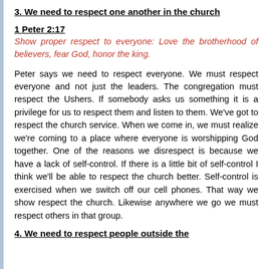3. We need to respect one another in the church
1 Peter 2:17
Show proper respect to everyone: Love the brotherhood of believers, fear God, honor the king.
Peter says we need to respect everyone. We must respect everyone and not just the leaders. The congregation must respect the Ushers. If somebody asks us something it is a privilege for us to respect them and listen to them. We've got to respect the church service. When we come in, we must realize we're coming to a place where everyone is worshipping God together. One of the reasons we disrespect is because we have a lack of self-control. If there is a little bit of self-control I think we'll be able to respect the church better. Self-control is exercised when we switch off our cell phones. That way we show respect the church. Likewise anywhere we go we must respect others in that group.
4. We need to respect people outside the